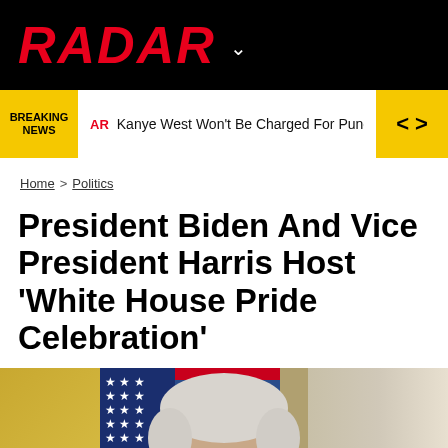RADAR
BREAKING NEWS — Kanye West Won't Be Charged For Punching Fan Outside H
Home > Politics
President Biden And Vice President Harris Host 'White House Pride Celebration'
[Figure (photo): President Biden standing in front of American flags and gold curtains at the White House]